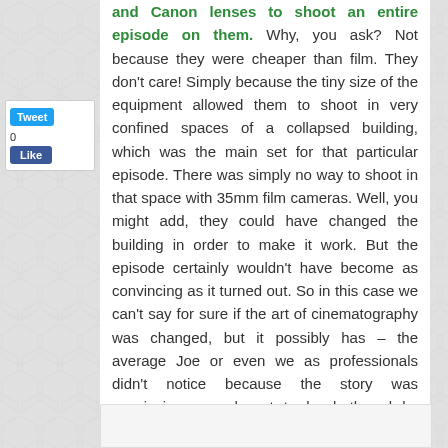and Canon lenses to shoot an entire episode on them. Why, you ask? Not because they were cheaper than film. They don't care! Simply because the tiny size of the equipment allowed them to shoot in very confined spaces of a collapsed building, which was the main set for that particular episode. There was simply no way to shoot in that space with 35mm film cameras. Well, you might add, they could have changed the building in order to make it work. But the episode certainly wouldn't have become as convincing as it turned out. So in this case we can't say for sure if the art of cinematography was changed, but it possibly has – the average Joe or even we as professionals didn't notice because the story was convincing enough not to be bothered by camera work. But we will never know because we haven't seen an alternative shot on other cameras or technology.
[Figure (screenshot): Social media sidebar with Tweet button and Like button]